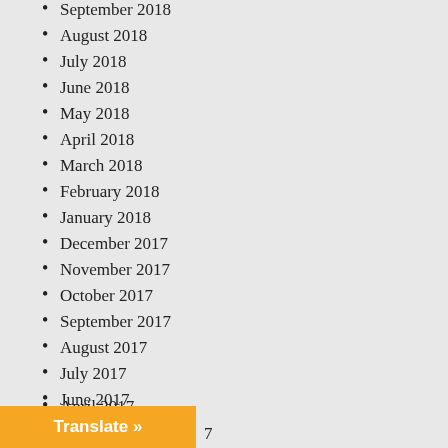September 2018
August 2018
July 2018
June 2018
May 2018
April 2018
March 2018
February 2018
January 2018
December 2017
November 2017
October 2017
September 2017
August 2017
July 2017
June 2017
May 2017
April 2017
Translate »